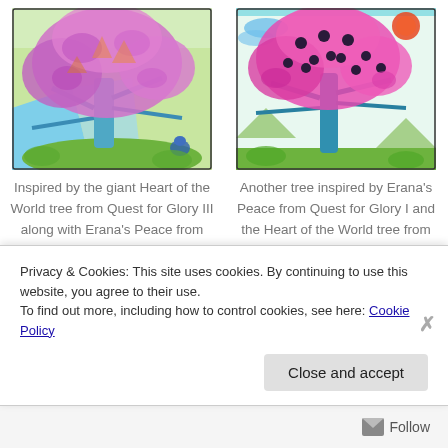[Figure (illustration): Children's drawing of a large tree with purple/pink foliage, colorful background with river and plants, and a small creature (Nu from Chrono Trigger) visible]
Inspired by the giant Heart of the World tree from Quest for Glory III along with Erana's Peace from Quest for Glory I. Also there's a Nu from Chrono Trigger because
[Figure (illustration): Children's drawing of a large tree with pink/magenta foliage and dark berries, blue sky with sun and clouds]
Another tree inspired by Erana's Peace from Quest for Glory I and the Heart of the World tree from Quest for Glory III. No nu this time.
Privacy & Cookies: This site uses cookies. By continuing to use this website, you agree to their use. To find out more, including how to control cookies, see here: Cookie Policy
Close and accept
Follow